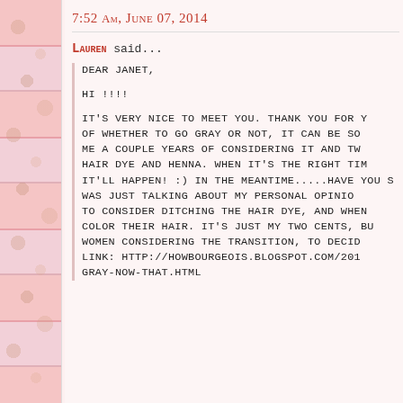7:52 AM, June 07, 2014
Lauren said...
Dear Janet,

Hi !!!!

It's very nice to meet you. Thank you for y... of whether to go gray or not, it can be so... me a couple years of considering it and tw... hair dye and henna. When it's the right tim... it'll happen! :) In the meantime.....have you s... was just talking about my personal opinio... to consider ditching the hair dye, and when... color their hair. It's just my two cents, bu... women considering the transition, to decid... link: http://howbourgeois.blogspot.com/201... gray-now-that.html